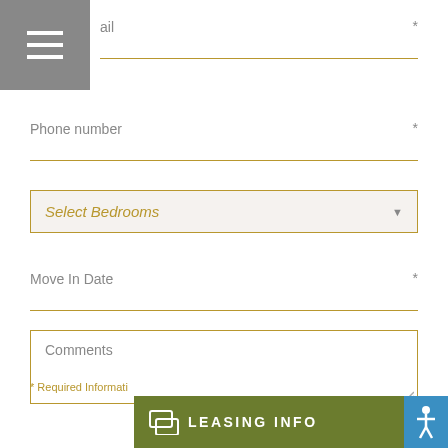[Figure (other): Gray hamburger menu button in top-left corner]
ail *
Phone number *
Select Bedrooms
Move In Date *
Comments
* Required Informati...
LEASING INFO